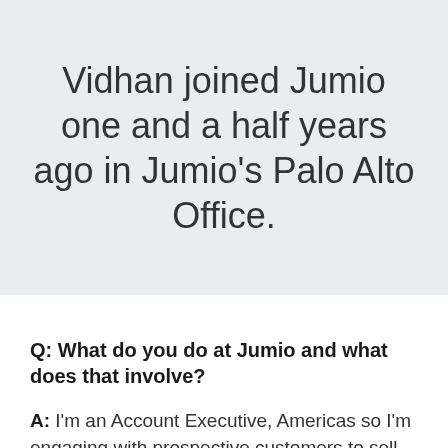Vidhan joined Jumio one and a half years ago in Jumio's Palo Alto Office.
Q: What do you do at Jumio and what does that involve?
A: I'm an Account Executive, Americas so I'm engaging with prospective customers to sell